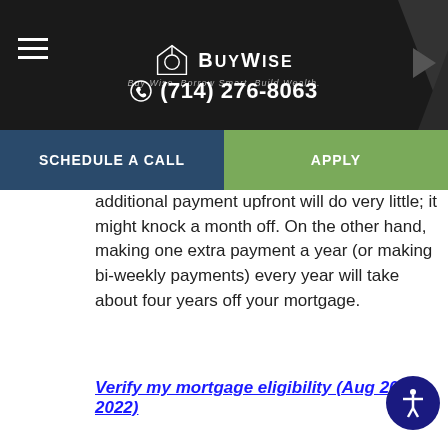BuyWise Mortgage — Buy Wise. Borrow Smart. Build Wealth. (714) 276-8063
SCHEDULE A CALL | APPLY
additional payment upfront will do very little; it might knock a month off. On the other hand, making one extra payment a year (or making bi-weekly payments) every year will take about four years off your mortgage.
Verify my mortgage eligibility (Aug 20th, 2022)
Let's say you had a $500,000 mortgage with a 4% rate. That first payment is mostly interest. Only $700 or $800 at the most goes to the principal. Doubling first payment would be like getting a slightly